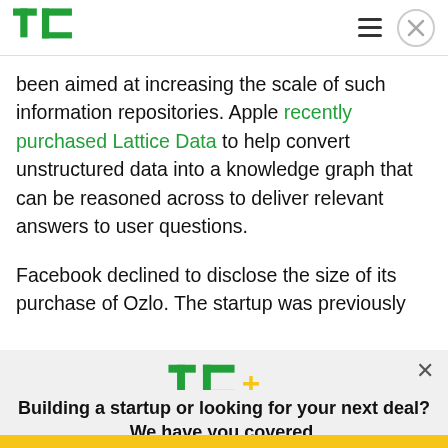TechCrunch
been aimed at increasing the scale of such information repositories. Apple recently purchased Lattice Data to help convert unstructured data into a knowledge graph that can be reasoned across to deliver relevant answers to user questions.
Facebook declined to disclose the size of its purchase of Ozlo. The startup was previously
[Figure (logo): TechCrunch TC+ logo inside modal overlay]
Building a startup or looking for your next deal? We have you covered.
EXPLORE NOW